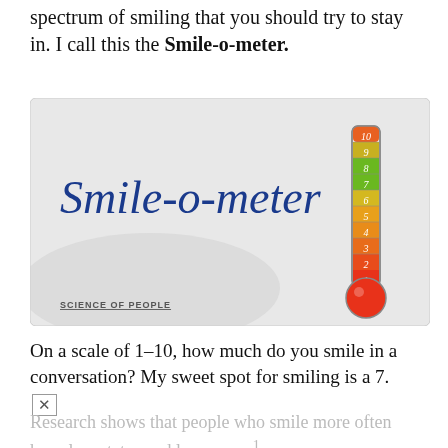spectrum of smiling that you should try to stay in. I call this the Smile-o-meter.
[Figure (illustration): Smile-o-meter illustration showing a thermometer-style gauge labeled 1–10. The bulb and lower sections (1–3) are red, middle sections (4–6) are orange, upper sections (7–8) are green, and top sections (9–10) are orange-red. The left side shows cursive text reading 'Smile-o-meter' on a light grey background. Bottom left has 'SCIENCE OF PEOPLE' watermark.]
On a scale of 1–10, how much do you smile in a conversation? My sweet spot for smiling is a 7.
Research shows that people who smile more often have less status and less power¹